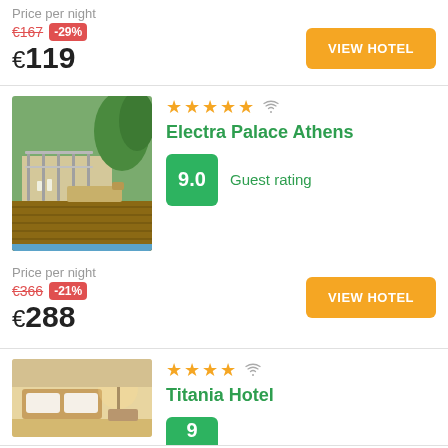Price per night
€167 -29% €119
VIEW HOTEL
[Figure (photo): Hotel rooftop terrace with sun loungers, metal railing, and greenery – Electra Palace Athens]
★★★★★ WiFi Electra Palace Athens
9.0 Guest rating
Price per night €366 -21% €288
VIEW HOTEL
[Figure (photo): Hotel room interior with warm lighting, lamp and bed – Titania Hotel]
★★★★ WiFi Titania Hotel